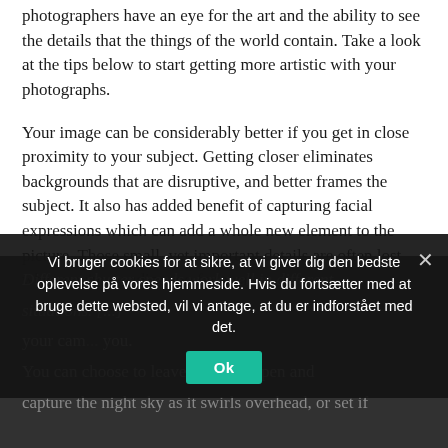photographers have an eye for the art and the ability to see the details that the things of the world contain. Take a look at the tips below to start getting more artistic with your photographs.
Your image can be considerably better if you get in close proximity to your subject. Getting closer eliminates backgrounds that are disruptive, and better frames the subject. It also has added benefit of capturing facial expressions which can add a whole new element to the picture. Those small, yet important details are often lost when you’re standing too far away.
Different shutter speeds work well in different ... your cam... you. You can choose to leave [sh]utter open and capture the night sky as it swirls overhead, or set if
Vi bruger cookies for at sikre, at vi giver dig den bedste oplevelse på vores hjemmeside. Hvis du fortsætter med at bruge dette websted, vil vi antage, at du er indforstået med det.